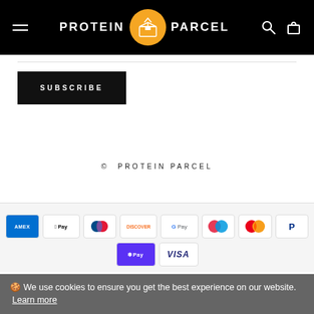PROTEIN PARCEL
SUBSCRIBE
© PROTEIN PARCEL
[Figure (other): Payment method icons: American Express, Apple Pay, Diners Club, Discover, Google Pay, Maestro, Mastercard, PayPal, Shop Pay, Visa]
🍪 We use cookies to ensure you get the best experience on our website. Learn more